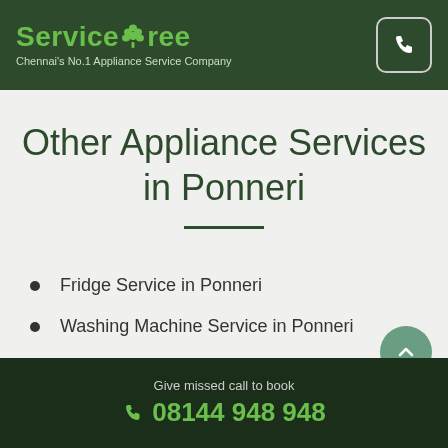ServiceTree — Chennai's No.1 Appliance Service Company
Other Appliance Services in Ponneri
Fridge Service in Ponneri
Washing Machine Service in Ponneri
Give missed call to book 08144 948 948